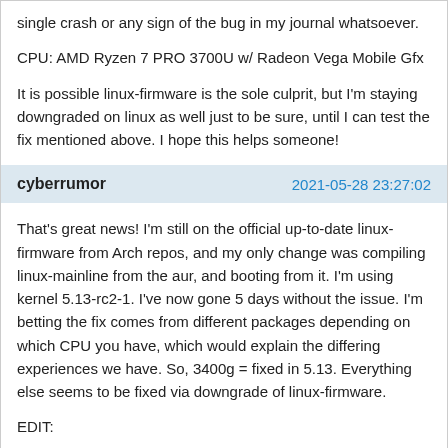single crash or any sign of the bug in my journal whatsoever.
CPU: AMD Ryzen 7 PRO 3700U w/ Radeon Vega Mobile Gfx
It is possible linux-firmware is the sole culprit, but I'm staying downgraded on linux as well just to be sure, until I can test the fix mentioned above. I hope this helps someone!
cyberrumor
2021-05-28 23:27:02
That's great news! I'm still on the official up-to-date linux-firmware from Arch repos, and my only change was compiling linux-mainline from the aur, and booting from it. I'm using kernel 5.13-rc2-1. I've now gone 5 days without the issue. I'm betting the fix comes from different packages depending on which CPU you have, which would explain the differing experiences we have. So, 3400g = fixed in 5.13. Everything else seems to be fixed via downgrade of linux-firmware.
EDIT:
Just crashed again, but that was the longest period of stability since I started seeing the issue. Am currently building 5.13-rc3, will report back.
EDIT 2: